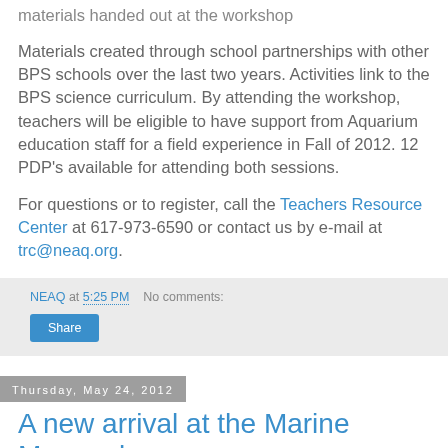materials handed out at the workshop
Materials created through school partnerships with other BPS schools over the last two years. Activities link to the BPS science curriculum. By attending the workshop, teachers will be eligible to have support from Aquarium education staff for a field experience in Fall of 2012. 12 PDP's available for attending both sessions.
For questions or to register, call the Teachers Resource Center at 617-973-6590 or contact us by e-mail at trc@neaq.org.
NEAQ at 5:25 PM    No comments:
Share
Thursday, May 24, 2012
A new arrival at the Marine Mammal